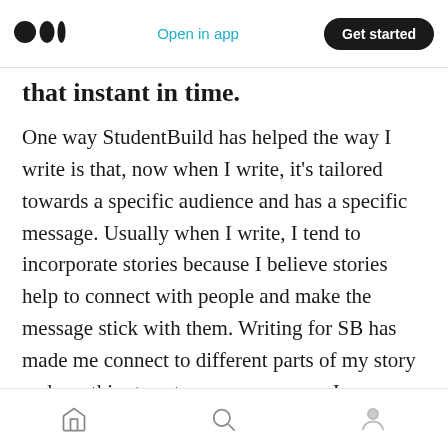Medium app header — logo, Open in app, Get started
that instant in time.
One way StudentBuild has helped the way I write is that, now when I write, it's tailored towards a specific audience and has a specific message. Usually when I write, I tend to incorporate stories because I believe stories help to connect with people and make the message stick with them. Writing for SB has made me connect to different parts of my story and use this story to pass a message. I am now very deliberate about communicating the idea I have in my head in a
Bottom navigation bar with home, search, and profile icons